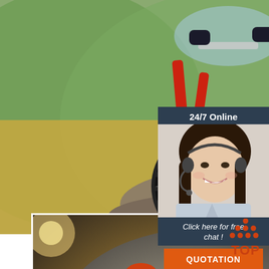[Figure (photo): Mountain biker riding downhill on rocky trail with grassy mountain backdrop, close-up of bike front wheel]
[Figure (photo): Cyclist in orange helmet riding mountain bike, image shown as overlay with dark lens/filter effect, white border, close button (x)]
[Figure (other): 24/7 Online chat widget with smiling female customer service agent wearing headset, dark blue background, 'Click here for free chat!' text and orange QUOTATION button]
NON POLAR MIRROR
Only over...
The vision...
Long wearing eye fatigue and dizziness
[Figure (other): Orange TOP button with upward pointing triangle/arrow icon made of dots]